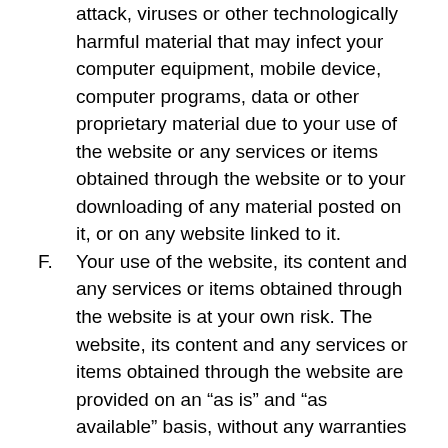attack, viruses or other technologically harmful material that may infect your computer equipment, mobile device, computer programs, data or other proprietary material due to your use of the website or any services or items obtained through the website or to your downloading of any material posted on it, or on any website linked to it.
F. Your use of the website, its content and any services or items obtained through the website is at your own risk. The website, its content and any services or items obtained through the website are provided on an “as is” and “as available” basis, without any warranties of any kind, either express or implied. Neither the company nor any person associated with the company makes any warranty or representation with respect to the completeness, security, reliability, quality,